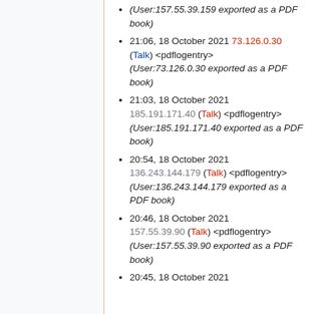(User:157.55.39.159 exported as a PDF book)
21:06, 18 October 2021 73.126.0.30 (Talk) <pdflogentry> (User:73.126.0.30 exported as a PDF book)
21:03, 18 October 2021 185.191.171.40 (Talk) <pdflogentry> (User:185.191.171.40 exported as a PDF book)
20:54, 18 October 2021 136.243.144.179 (Talk) <pdflogentry> (User:136.243.144.179 exported as a PDF book)
20:46, 18 October 2021 157.55.39.90 (Talk) <pdflogentry> (User:157.55.39.90 exported as a PDF book)
20:45, 18 October 2021